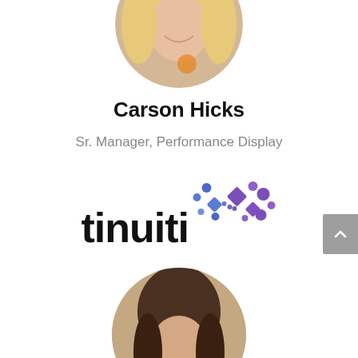[Figure (photo): Circular profile photo of a blonde woman smiling, partially cropped at top of page]
Carson Hicks
Sr. Manager, Performance Display
[Figure (logo): Tinuiti company logo with geometric infinity-style symbol in blue and purple dots and shapes alongside the word tinuiti in black]
[Figure (photo): Circular profile photo of a brunette woman smiling, partially cropped at bottom of page]